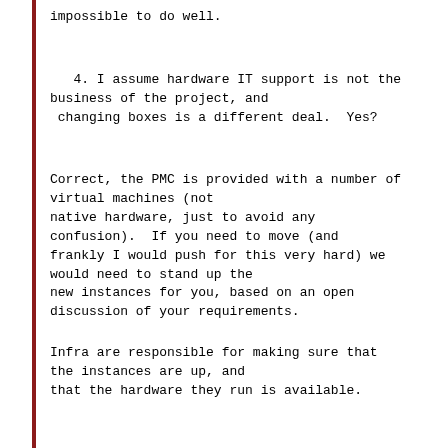impossible to do well.
4. I assume hardware IT support is not the business of the project, and
 changing boxes is a different deal.  Yes?
Correct, the PMC is provided with a number of virtual machines (not
native hardware, just to avoid any confusion).  If you need to move (and frankly I would push for this very hard) we would need to stand up the new instances for you, based on an open discussion of your requirements.
Infra are responsible for making sure that the instances are up, and
that the hardware they run is available.